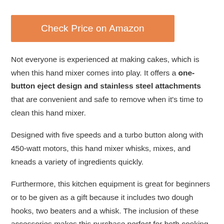[Figure (other): Orange button labeled 'Check Price on Amazon']
Not everyone is experienced at making cakes, which is when this hand mixer comes into play. It offers a one-button eject design and stainless steel attachments that are convenient and safe to remove when it's time to clean this hand mixer.
Designed with five speeds and a turbo button along with 450-watt motors, this hand mixer whisks, mixes, and kneads a variety of ingredients quickly.
Furthermore, this kitchen equipment is great for beginners or to be given as a gift because it includes two dough hooks, two beaters and a whisk. The inclusion of these accessories makes this purchase perfect for both cooking and baking. When you're finished in the kitchen, you can easily store all the